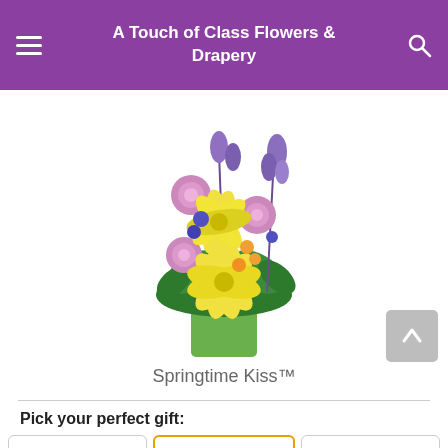A Touch of Class Flowers & Drapery
[Figure (photo): A floral arrangement called Springtime Kiss in a green rectangular vase, featuring yellow lilies, pink roses, purple flowers, and orange buds with lush green foliage.]
Springtime Kiss™
Pick your perfect gift: